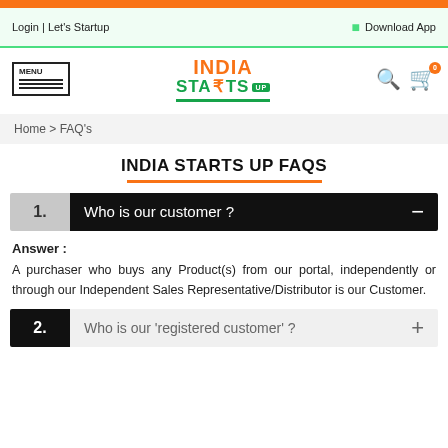Login | Let's Startup    Download App
[Figure (logo): India Starts Up logo with orange INDIA text, green STARTS text with rupee symbol, and UP badge]
Home > FAQ's
INDIA STARTS UP FAQS
1. Who is our customer ?
Answer :
A purchaser who buys any Product(s) from our portal, independently or through our Independent Sales Representative/Distributor is our Customer.
2. Who is our 'registered customer' ?